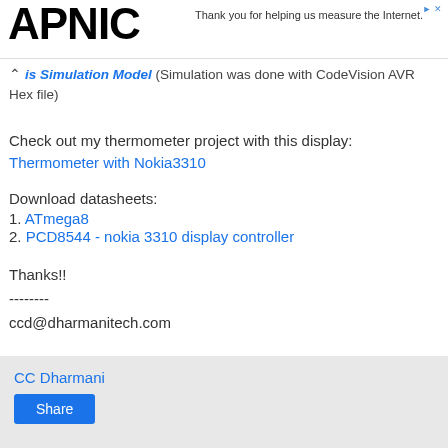APNIC — Thank you for helping us measure the Internet.
is Simulation Model (Simulation was done with CodeVision AVR Hex file)
Check out my thermometer project with this display:
Thermometer with Nokia3310
Download datasheets:
1. ATmega8
2. PCD8544 - nokia 3310 display controller
Thanks!!
--------
ccd@dharmanitech.com
CC Dharmani